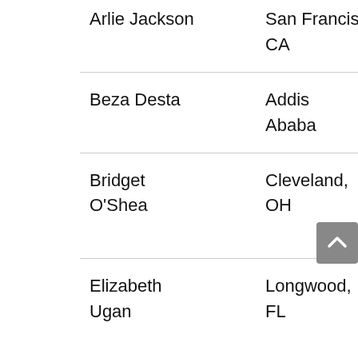| Name | Location | Program |
| --- | --- | --- |
| Arlie Jackson | San Francisco, CA | Computer Science |
| Beza Desta | Addis Ababa | Computer Science |
| Bridget O'Shea | Cleveland, OH | Undecided, Social Policy Minor |
| Elizabeth Ugan | Longwood, FL | Law, Letters and Society; Cinema Media Studies; Creative... |